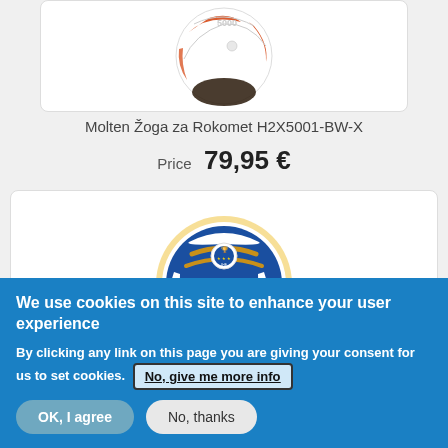[Figure (photo): Molten handball ball H2X5001-BW-X, white with orange/brown stripes, partially visible at top of product card]
Molten Žoga za Rokomet H2X5001-BW-X
Price  79,95 €
[Figure (photo): Molten handball ball, blue and white with gold accents and championship logo, molten brand text visible]
We use cookies on this site to enhance your user experience
By clicking any link on this page you are giving your consent for us to set cookies.
No, give me more info
OK, I agree
No, thanks